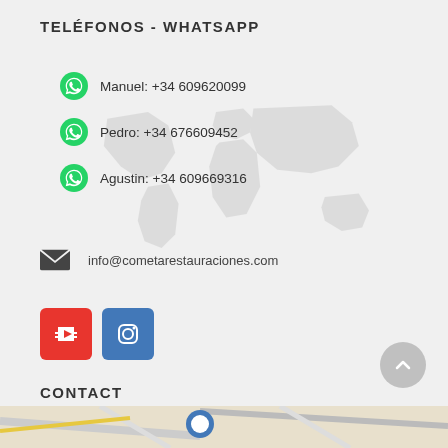TELÉFONOS - WHATSAPP
Manuel: +34 609620099
Pedro: +34 676609452
Agustin: +34 609669316
info@cometarestauraciones.com
[Figure (logo): YouTube and Instagram social media icon buttons]
CONTACT
Avd. Capital del ajo nº 17 nave 16660-Las Pedroñeras (Cuenca)
[Figure (map): Street map showing location at Las Pedroñeras]